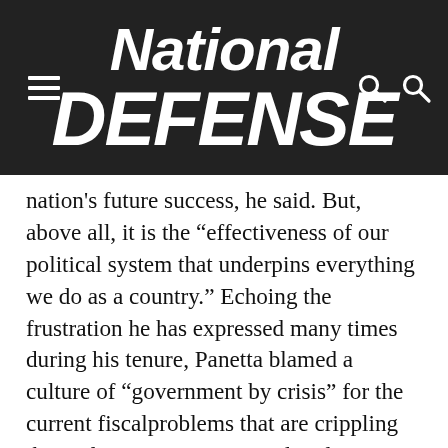National Defense
nation's future success, he said. But, above all, it is the “effectiveness of our political system that underpins everything we do as a country.” Echoing the frustration he has expressed many times during his tenure, Panetta blamed a culture of “government by crisis” for the current fiscalproblems that are crippling the Defense Department and undermining the U.S. military. “It has become too politically convenient to allow crisis to drive the issues. … You create an aura of constant uncertainty that pervades every issue and [this malaise] gradually undermines the credibility of the nation,” said Panetta. “My greatest concern